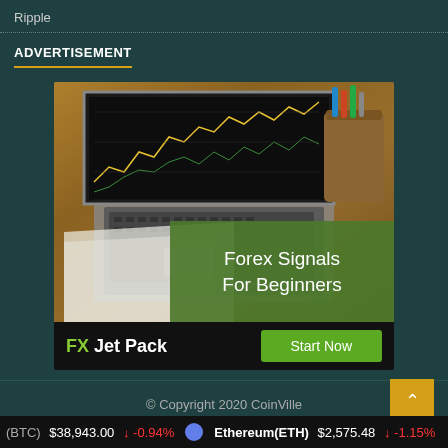Ripple
ADVERTISEMENT
[Figure (photo): Advertisement image for FX Jet Pack: a laptop on a wooden desk showing a stock/forex chart on screen, with a wooden pen holder in background. Green overlay text reads 'Forex Signals For Beginners'. Bottom black bar shows 'FX Jet Pack' and a 'Start Now' green button.]
© Copyright 2020 CoinVille
BTC $38,943.00 ↓ -0.94%   Ethereum(ETH) $2,575.48 ↓ -1.15%